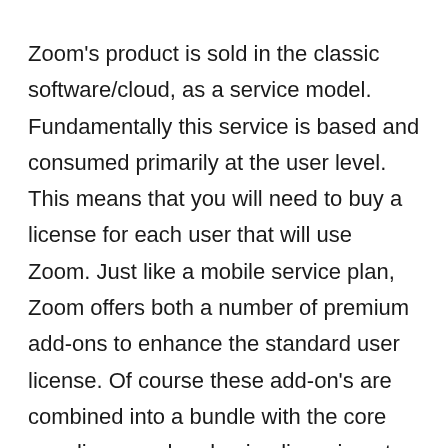Zoom's product is sold in the classic software/cloud, as a service model. Fundamentally this service is based and consumed primarily at the user level. This means that you will need to buy a license for each user that will use Zoom. Just like a mobile service plan, Zoom offers both a number of premium add-ons to enhance the standard user license. Of course these add-on's are combined into a bundle with the core user license when buying licensing at scale as well. The Zoom Room license can be thought of just like a user license, where each room needs its own license and potential add-ons. Zoom also has additional account level based licenses that are only applied globally at